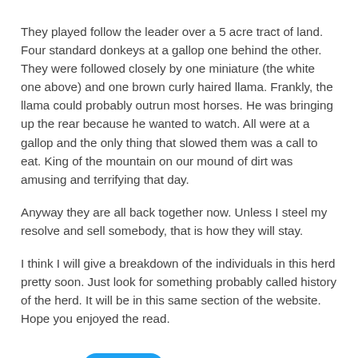They played follow the leader over a 5 acre tract of land. Four standard donkeys at a gallop one behind the other. They were followed closely by one miniature (the white one above) and one brown curly haired llama. Frankly, the llama could probably outrun most horses. He was bringing up the rear because he wanted to watch. All were at a gallop and the only thing that slowed them was a call to eat. King of the mountain on our mound of dirt was amusing and terrifying that day.
Anyway they are all back together now. Unless I steel my resolve and sell somebody, that is how they will stay.
I think I will give a breakdown of the individuals in this herd pretty soon. Just look for something probably called history of the herd. It will be in this same section of the website. Hope you enjoyed the read.
[Figure (other): Twitter Tweet button (blue rounded rectangle with bird icon and 'Tweet' label)]
0 Comments